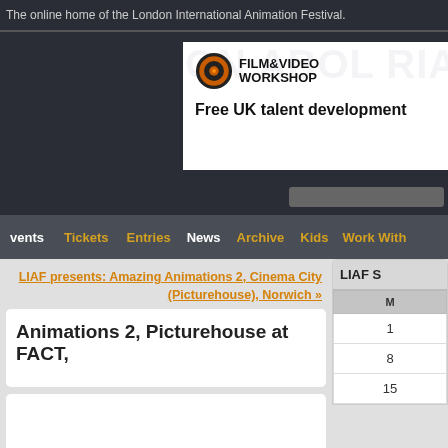The online home of the London International Animation Festival.
[Figure (logo): Film & Video Workshop logo with text: Free UK talent development]
Events | Tickets | Entries | News | Archive | Kids | Work With
LIAF presents: Amazing Animations 2, Cinema City (Picturehouse), Norwich »
Animations 2, Picturehouse at FACT,
LIAF S
| M |
| --- |
| 1 |
| 8 |
| 15 |